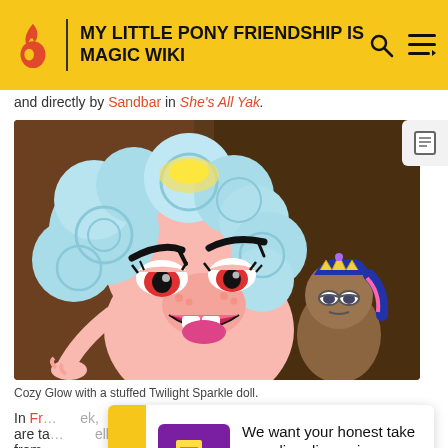MY LITTLE PONY FRIENDSHIP IS MAGIC WIKI
and directly by Sandbar in She's All Yak.
[Figure (illustration): Cozy Glow (a pink pony with blue curly hair) with a stuffed Twilight Sparkle doll. Animated cartoon style.]
Cozy Glow with a stuffed Twilight Sparkle doll.
In Fr... ek, are ta... ell from...
We want your honest take on online discussions SURVEY: ONLINE FORUMS